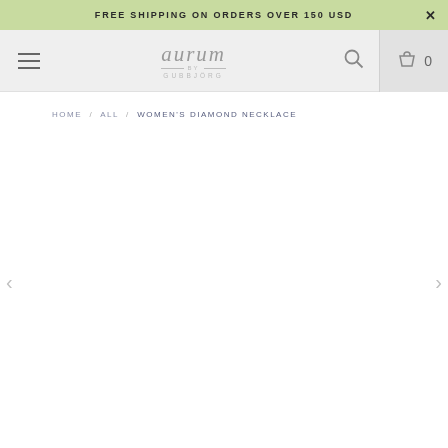FREE SHIPPING ON ORDERS OVER 150 USD
[Figure (logo): Aurum by Gubbjörg brand logo with stylized italic text]
HOME / ALL / WOMEN'S DIAMOND NECKLACE